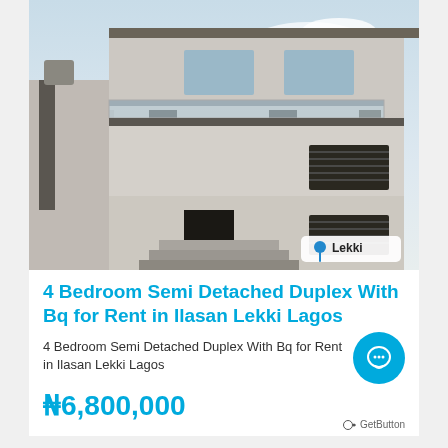[Figure (photo): Exterior photo of a modern multi-storey semi-detached duplex building with grey marble columns, white plastered walls, dark louvred windows, glass balcony railings, and a staircase leading to the entrance. Blue sky visible in the background. A location badge reading 'Lekki' appears in the bottom-right corner of the photo.]
4 Bedroom Semi Detached Duplex With Bq for Rent in Ilasan Lekki Lagos
4 Bedroom Semi Detached Duplex With Bq for Rent in Ilasan Lekki Lagos
N6,800,000